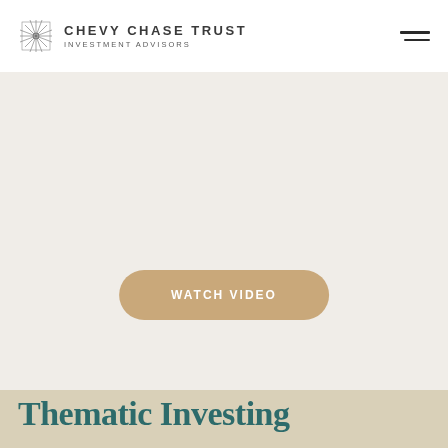[Figure (logo): Chevy Chase Trust Investment Advisors logo with decorative snowflake/geometric icon on the left and company name text on the right]
[Figure (other): Hamburger menu icon (two horizontal lines) in upper right corner]
[Figure (other): Light beige/grey background main content area with a rounded 'WATCH VIDEO' button in tan/gold color]
Thematic Investing